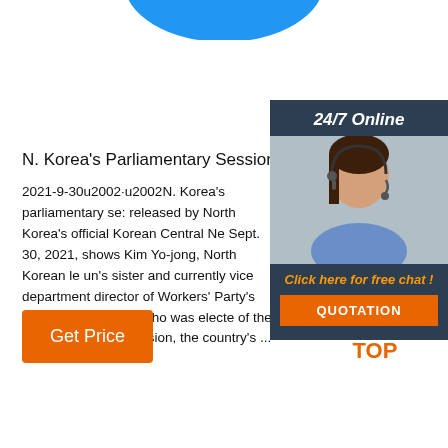[Figure (illustration): Blue decorative shape / partial circle at the top center of the page]
[Figure (photo): Customer service woman with headset smiling, with 24/7 Online banner and chat/quotation call-to-action panel on the right side]
N. Korea's Parliamentary Session
2021-9-30u2002·u2002N. Korea's parliamentary session released by North Korea's official Korean Central News Agency on Sept. 30, 2021, shows Kim Yo-jong, North Korean leader Kim Jong-un's sister and currently vice department director of the Korean Workers' Party's Central Committee, who was elected as a member of the State Affairs Commission, the country's ...
[Figure (infographic): Orange Get Price button]
[Figure (infographic): TOP back-to-top icon in orange with dot-triangle above the text]